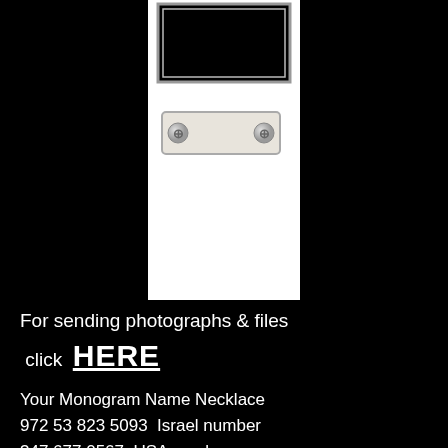[Figure (illustration): White device (phone/tablet) with black screen at top and a nameplate with screws below, set against black background]
For sending photographs & files click HERE
Your Monogram Name Necklace 972 53 823 5093  Israel number 347 677 0567  USA number
We are in the process of updating our website